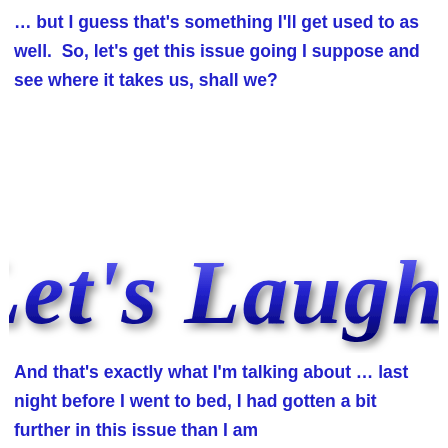… but I guess that's something I'll get used to as well.  So, let's get this issue going I suppose and see where it takes us, shall we?
[Figure (illustration): Decorative stylized text reading 'Let's Laugh!' in large bold italic blue font with shadow effect]
And that's exactly what I'm talking about … last night before I went to bed, I had gotten a bit further in this issue than I am